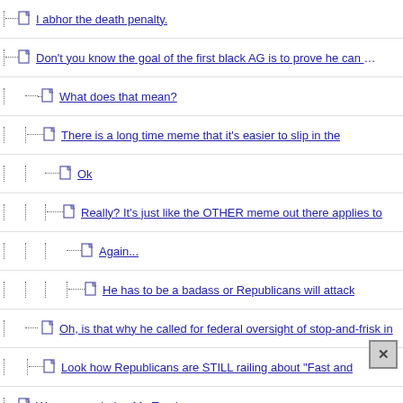I abhor the death penalty.
Don't you know the goal of the first black AG is to prove he can be as
What does that mean?
There is a long time meme that it's easier to slip in the
Ok
Really? It's just like the OTHER meme out there applies to
Again...
He has to be a badass or Republicans will attack
Oh, is that why he called for federal oversight of stop-and-frisk in
Look how Republicans are STILL railing about "Fast and
We are murdering Mr. Tzarhnaev
I oppose the death penalty, and I insist on a fair trial
I was pretty sure this would be the decision. Cowardly as far as I am
Pretty much expected though, politically.
Thank you.
.
Just because the DP is on the table doesn't mean it's going to
He can plea deal for life w/o parole in prison
Not necessarily. That may not be on the table.
Maybe not.